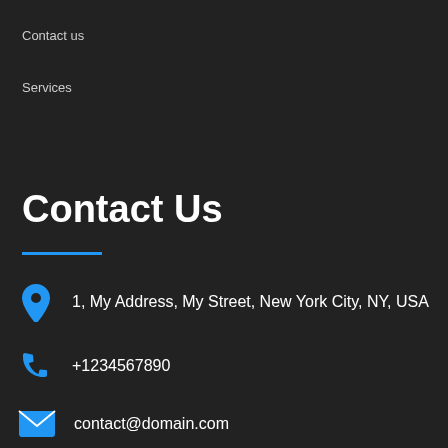Contact us
Services
Contact Us
1, My Address, My Street, New York City, NY, USA
+1234567890
contact@domain.com